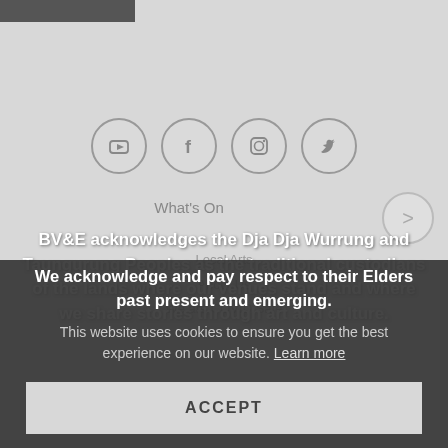[Figure (screenshot): Dark grey top navigation bar / logo strip at top left]
[Figure (screenshot): Four social media icons (YouTube, Facebook, Instagram, Twitter) in circular grey bordered buttons]
What's On
Local Arts
About Us
We are COVID Safe
BV&E acknowledges the Dja Dja Wurrung and Taungurung Peoples as the traditional custodians of the lands where our venues stand and where we share stories through art and culture.
We acknowledge and pay respect to their Elders past present and emerging.
This website uses cookies to ensure you get the best experience on our website. Learn more
ACCEPT